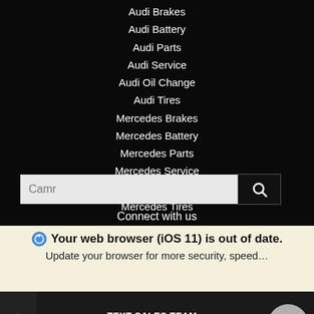Audi Brakes
Audi Battery
Audi Parts
Audi Service
Audi Oil Change
Audi Tires
Mercedes Brakes
Mercedes Battery
Mercedes Parts
Mercedes Service
Mercedes Oil Change
Mercedes Tires
Connect with us
Your web browser (iOS 11) is out of date. Update your browser for more security, speed…
TEXT SALES TEAM
(626) 542-1240